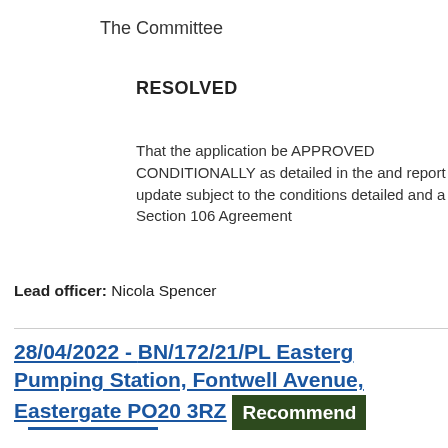The Committee
RESOLVED
That the application be APPROVED CONDITIONALLY as detailed in the and report update subject to the conditions detailed and a Section 106 Agreement
Lead officer: Nicola Spencer
28/04/2022 - BN/172/21/PL Eastergate Pumping Station, Fontwell Avenue, Eastergate PO20 3RZ  Recommend